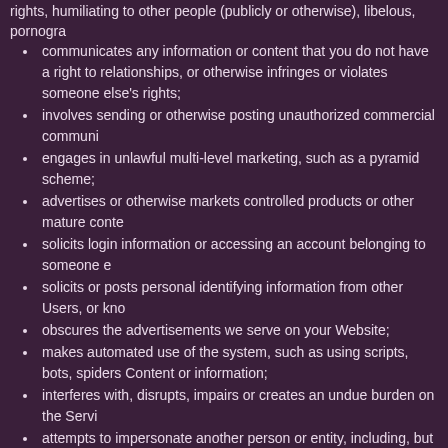communicates any information or content that you do not have a right to relationships, or otherwise infringes or violates someone else's rights;
involves sending or otherwise posting unauthorized commercial communi
engages in unlawful multi-level marketing, such as a pyramid scheme;
advertises or otherwise markets controlled products or other mature conte
solicits login information or accessing an account belonging to someone e
solicits or posts personal identifying information from other Users, or kno
obscures the advertisements we serve on your Website;
makes automated use of the system, such as using scripts, bots, spiders Content or information;
interferes with, disrupts, impairs or creates an undue burden on the Servi
attempts to impersonate another person or entity, including, but not limite misrepresent your affiliation with a person or entity;
provides false personal information on Webs.com, or creates an account
involves selling or otherwise transferring your account without our prior pe
creates and maintains a Website that (i) redirects to another web page o
uploads viruses or other malicious code;
uses the Services to hyperlink to content not permitted on Webs.com;
facilitates or encourages any violation of these Terms of Service.
9. Webs Marks; Templates
Webs trademarks, logos, service marks, images, trade names and oth